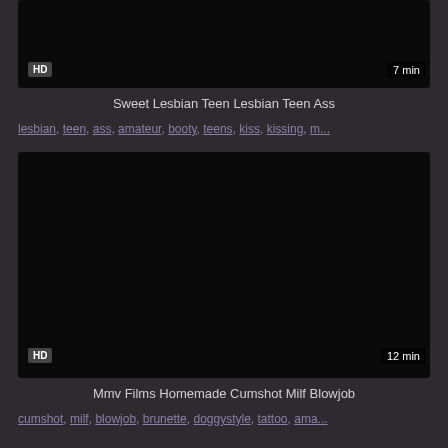[Figure (screenshot): Dark video thumbnail for first video]
Sweet Lesbian Teen Lesbian Teen Ass
lesbian, teen, ass, amateur, booty, teens, kiss, kissing, m...
[Figure (screenshot): Dark video thumbnail for second video]
Mmv Films Homemade Cumshot Milf Blowjob
cumshot, milf, blowjob, brunette, doggystyle, tattoo, ama...